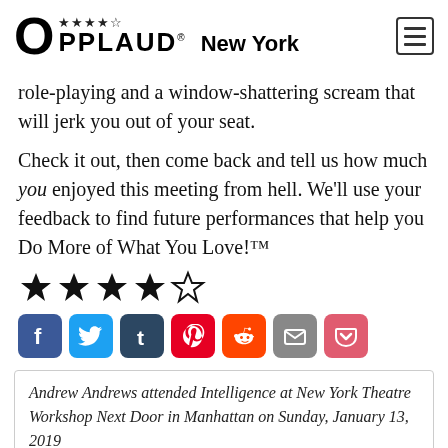OPPLAUD® New York
role-playing and a window-shattering scream that will jerk you out of your seat.
Check it out, then come back and tell us how much you enjoyed this meeting from hell. We'll use your feedback to find future performances that help you Do More of What You Love!™
[Figure (other): 4 out of 5 stars rating]
[Figure (other): Social sharing icons: Facebook, Twitter, Tumblr, Pinterest, Reddit, Email, Pocket]
Andrew Andrews attended Intelligence at New York Theatre Workshop Next Door in Manhattan on Sunday, January 13, 2019